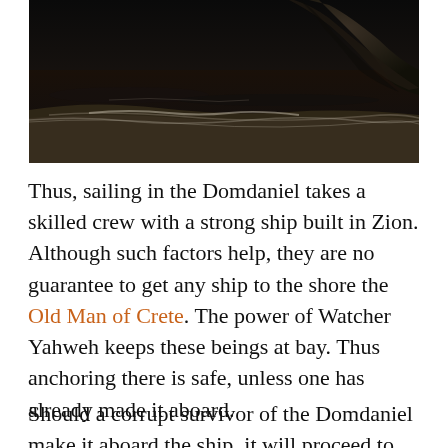[Figure (photo): Dark atmospheric photograph of a rocky shoreline with crashing waves, dark sea and rocky cliffs in the background under a very dark sky.]
Thus, sailing in the Domdaniel takes a skilled crew with a strong ship built in Zion. Although such factors help, they are no guarantee to get any ship to the shore the Old Man of Crete. The power of Watcher Yahweh keeps these beings at bay. Thus anchoring there is safe, unless one has already made it aboard.
Should a corrupt survivor of the Domdaniel make it aboard the ship, it will proceed to try